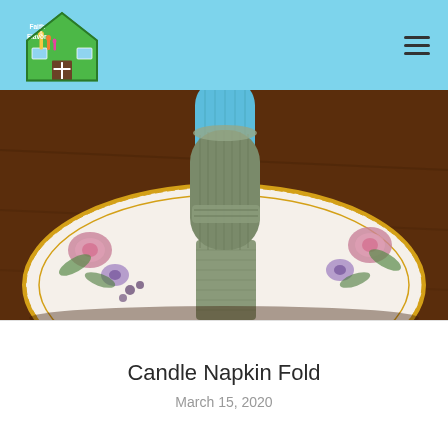[Figure (logo): Faith & Flavor house logo with cartoon giraffes in a green house shape]
[Figure (photo): A sage green cloth napkin folded in a candle roll shape placed upright on a white floral china plate on a dark wood table. A blue rolled napkin is partially visible at the top.]
Candle Napkin Fold
March 15, 2020